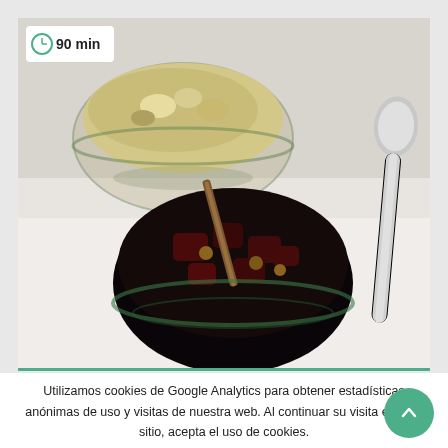[Figure (photo): Two glass bowls with cooked food (one with light-colored stewed fruit/compote, one with dark red/purple food with a stick/cinnamon), and a silver spoon on a white surface. A time badge '90 min' with a clock icon is shown in the upper left corner of the photo.]
Utilizamos cookies de Google Analytics para obtener estadísticas anónimas de uso y visitas de nuestra web. Al continuar su visita en este sitio, acepta el uso de cookies.
ACEPTAR    Más información